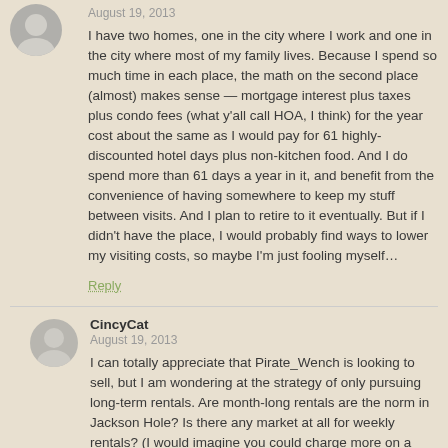August 19, 2013
I have two homes, one in the city where I work and one in the city where most of my family lives. Because I spend so much time in each place, the math on the second place (almost) makes sense — mortgage interest plus taxes plus condo fees (what y'all call HOA, I think) for the year cost about the same as I would pay for 61 highly-discounted hotel days plus non-kitchen food. And I do spend more than 61 days a year in it, and benefit from the convenience of having somewhere to keep my stuff between visits. And I plan to retire to it eventually. But if I didn't have the place, I would probably find ways to lower my visiting costs, so maybe I'm just fooling myself…
Reply
CincyCat
August 19, 2013
I can totally appreciate that Pirate_Wench is looking to sell, but I am wondering at the strategy of only pursuing long-term rentals. Are month-long rentals are the norm in Jackson Hole? Is there any market at all for weekly rentals? (I would imagine you could charge more on a weekly basis, rather than a monthly.) Is the property